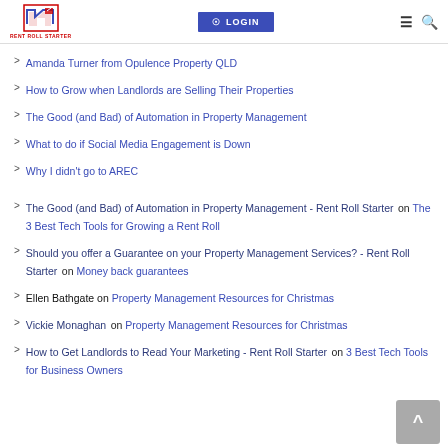RENT ROLL STARTER — LOGIN
Amanda Turner from Opulence Property QLD
How to Grow when Landlords are Selling Their Properties
The Good (and Bad) of Automation in Property Management
What to do if Social Media Engagement is Down
Why I didn't go to AREC
The Good (and Bad) of Automation in Property Management - Rent Roll Starter on The 3 Best Tech Tools for Growing a Rent Roll
Should you offer a Guarantee on your Property Management Services? - Rent Roll Starter on Money back guarantees
Ellen Bathgate on Property Management Resources for Christmas
Vickie Monaghan on Property Management Resources for Christmas
How to Get Landlords to Read Your Marketing - Rent Roll Starter on 3 Best Tech Tools for Business Owners